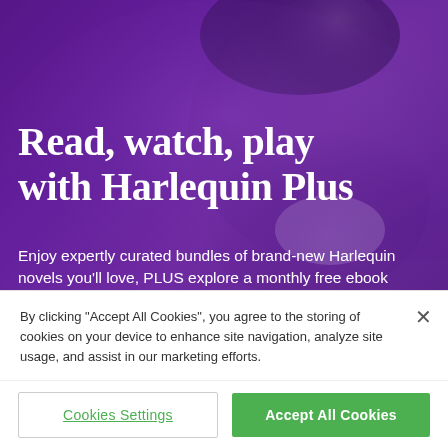[Figure (photo): Background photo of a woman with curly hair holding a cup, overlaid with a purple gradient, serving as the hero image for Harlequin Plus promotional page]
Read, watch, play with Harlequin Plus
Enjoy expertly curated bundles of brand-new Harlequin novels you'll love, PLUS explore a monthly free ebook
By clicking "Accept All Cookies", you agree to the storing of cookies on your device to enhance site navigation, analyze site usage, and assist in our marketing efforts.
Cookies Settings
Accept All Cookies